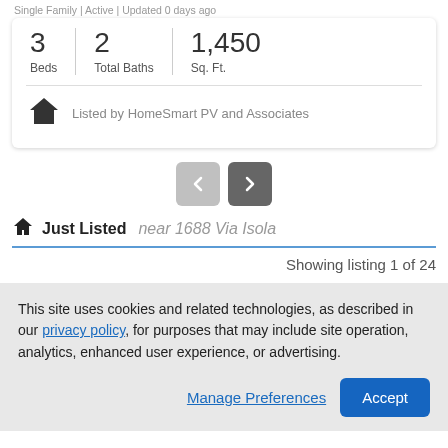Single Family | Active | Updated 0 days ago
| Beds | Total Baths | Sq. Ft. |
| --- | --- | --- |
| 3 | 2 | 1,450 |
Listed by HomeSmart PV and Associates
Just Listed near 1688 Via Isola
Showing listing 1 of 24
This site uses cookies and related technologies, as described in our privacy policy, for purposes that may include site operation, analytics, enhanced user experience, or advertising.
Manage Preferences
Accept